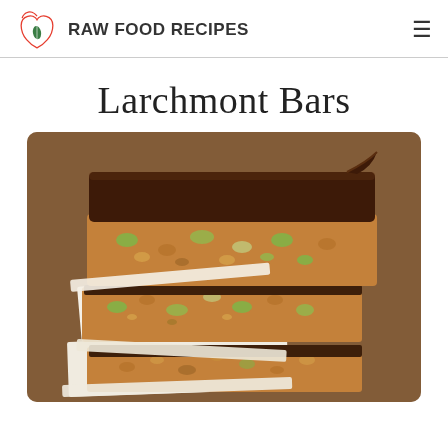RAW FOOD RECIPES
Larchmont Bars
[Figure (photo): Stack of Larchmont Bars with chocolate top layer and nut/seed base separated by parchment paper squares, photographed on a wooden surface]